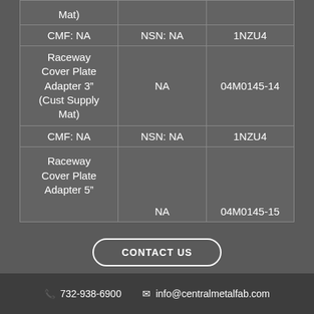| Product | NSN | Part Number |
| --- | --- | --- |
| CMF: NA | NSN: NA | 1NZU4 |
| Raceway Cover Plate Adapter 3” (Cust Supply Mat) | NA | 04M0145-14 |
| CMF: NA | NSN: NA | 1NZU4 |
| Raceway Cover Plate Adapter 5” | NA | 04M0145-15 |
CONTACT US
732-938-6900   info@centralmetalfab.com